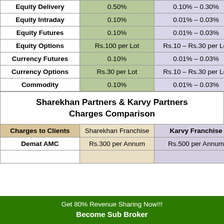|  |  |  |
| --- | --- | --- |
| Equity Delivery | 0.50% | 0.10% – 0.30% |
| Equity Intraday | 0.10% | 0.01% – 0.03% |
| Equity Futures | 0.10% | 0.01% – 0.03% |
| Equity Options | Rs.100 per Lot | Rs.10 – Rs.30 per Lot |
| Currency Futures | 0.10% | 0.01% – 0.03% |
| Currency Options | Rs.30 per Lot | Rs.10 – Rs.30 per Lot |
| Commodity | 0.10% | 0.01% – 0.03% |
Sharekhan Partners & Karvy Partners Charges Comparison
| Charges to Clients | Sharekhan Franchise | Karvy Franchise |
| --- | --- | --- |
| Demat AMC | Rs.300 per Annum | Rs.500 per Annum |
Get 80% Revenue Sharing Now!!! Become Sub Broker